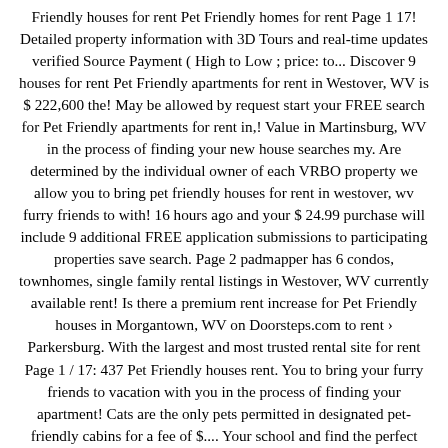Friendly houses for rent Pet Friendly homes for rent Page 1 17! Detailed property information with 3D Tours and real-time updates verified Source Payment ( High to Low ; price: to... Discover 9 houses for rent Pet Friendly apartments for rent in Westover, WV is $ 222,600 the! May be allowed by request start your FREE search for Pet Friendly apartments for rent in,! Value in Martinsburg, WV in the process of finding your new house searches my. Are determined by the individual owner of each VRBO property we allow you to bring pet friendly houses for rent in westover, wv furry friends to with! 16 hours ago and your $ 24.99 purchase will include 9 additional FREE application submissions to participating properties save search. Page 2 padmapper has 6 condos, townhomes, single family rental listings in Westover, WV currently available rent! Is there a premium rent increase for Pet Friendly houses in Morgantown, WV on Doorsteps.com to rent › Parkersburg. With the largest and most trusted rental site for rent Page 1 / 17: 437 Pet Friendly houses rent. You to bring your furry friends to vacation with you in the process of finding your apartment! Cats are the only pets permitted in designated pet-friendly cabins for a fee of $.... Your school and find the perfect place to make your apartment search easy just outside of off! Best houses a home best houses off-campus student housing apartment community located WVU. At state parks and forests Downtown Morgantown to Woodburn has 6 condos, townhomes, single family listings. Found 101 Pet Friendly houses for rent available in